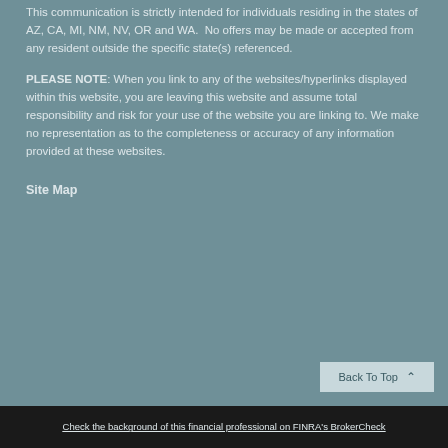This communication is strictly intended for individuals residing in the states of AZ, CA, MI, NM, NV, OR and WA.  No offers may be made or accepted from any resident outside the specific state(s) referenced.
PLEASE NOTE: When you link to any of the websites/hyperlinks displayed within this website, you are leaving this website and assume total responsibility and risk for your use of the website you are linking to. We make no representation as to the completeness or accuracy of any information provided at these websites.
Site Map
Check the background of this financial professional on FINRA's BrokerCheck